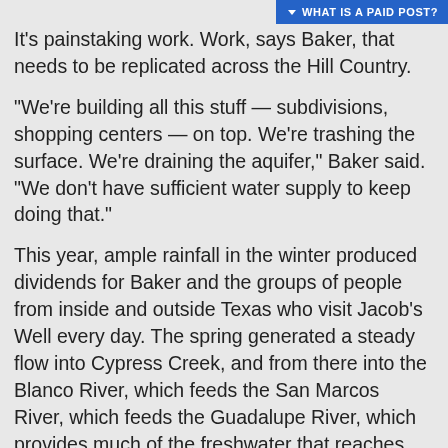WHAT IS A PAID POST?
It's painstaking work. Work, says Baker, that needs to be replicated across the Hill Country.
“We’re building all this stuff — subdivisions, shopping centers — on top. We’re trashing the surface. We’re draining the aquifer,” Baker said. “We don’t have sufficient water supply to keep doing that.”
This year, ample rainfall in the winter produced dividends for Baker and the groups of people from inside and outside Texas who visit Jacob’s Well every day. The spring generated a steady flow into Cypress Creek, and from there into the Blanco River, which feeds the San Marcos River, which feeds the Guadalupe River, which provides much of the freshwater that reaches the San Antonio Bay estuary along the Gulf of Mexico.